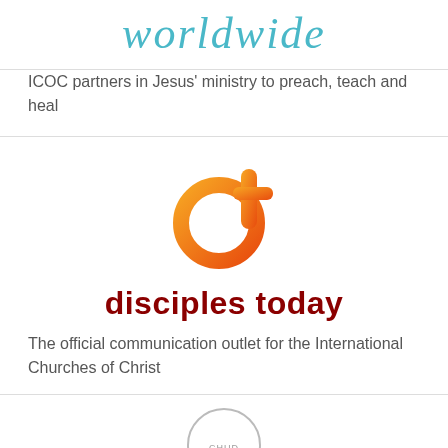worldwide
ICOC partners in Jesus' ministry to preach, teach and heal
[Figure (logo): Disciples Today logo: orange gradient stylized 'd' with cross bar, above bold dark red text 'disciples today']
The official communication outlet for the International Churches of Christ
[Figure (logo): Partial circular logo at bottom of page, partially cut off]